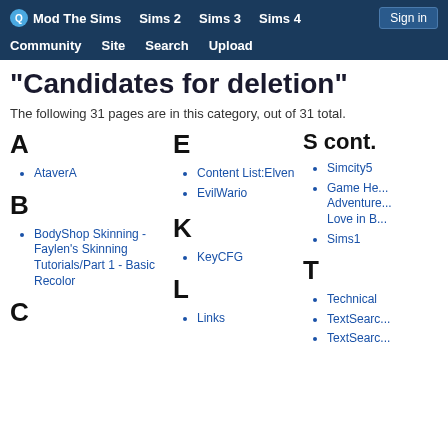Mod The Sims | Sims 2 | Sims 3 | Sims 4 | Sign in | Community | Site | Search | Upload
"Candidates for deletion"
The following 31 pages are in this category, out of 31 total.
A
AtaverA
B
BodyShop Skinning - Faylen's Skinning Tutorials/Part 1 - Basic Recolor
C
E
Content List:Elven
EvilWario
K
KeyCFG
L
Links
S cont.
Simcity5
Game He... Adventure... Love in B...
Sims1
T
Technical
TextSearc...
TextSearc...